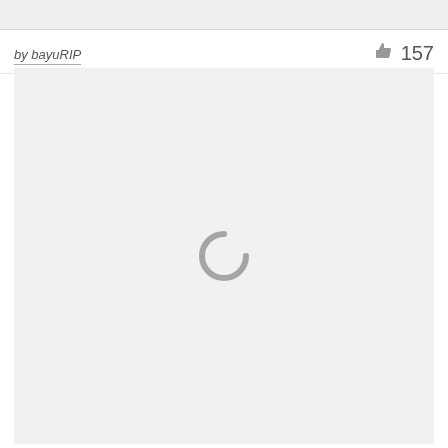by bayuRIP
157
[Figure (screenshot): Loading spinner icon centered in a light gray content area, with a partial circular arc in gray indicating loading state]